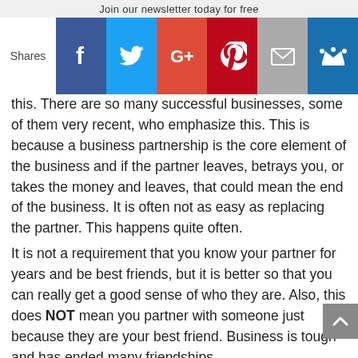Join our newsletter today for free
[Figure (other): Social sharing bar with buttons for Facebook, Twitter, Google+, Pinterest, Email, and Crown/Sumo. Left side shows 'Shares' label.]
this. There are so many successful businesses, some of them very recent, who emphasize this. This is because a business partnership is the core element of the business and if the partner leaves, betrays you, or takes the money and leaves, that could mean the end of the business. It is often not as easy as replacing the partner. This happens quite often.
It is not a requirement that you know your partner for years and be best friends, but it is better so that you can really get a good sense of who they are. Also, this does NOT mean you partner with someone just because they are your best friend. Business is tough and has ended many friendships.
There are dozens of examples of successful people who embody this. The following are pairs of billionaires who knew eachother for years: Paul Allen